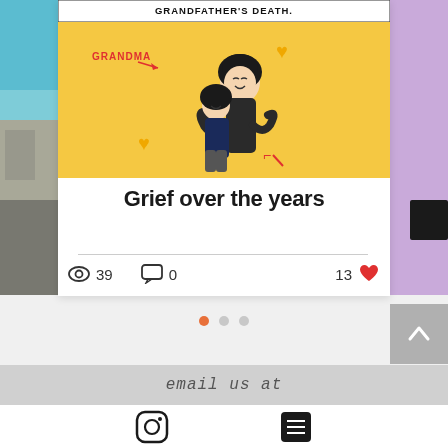[Figure (illustration): Comic panel showing two characters hugging on a yellow background, labeled GRANDMA with a red arrow, and red arrow pointing elsewhere. Text at top reads GRANDFATHER'S DEATH.]
Grief over the years
39 views, 0 comments, 13 likes
[Figure (infographic): Pagination dots: one orange dot active, two grey dots]
[Figure (other): Back to top button with upward chevron arrow on grey background]
email us at
[Figure (other): Instagram icon and list/menu icon at bottom]